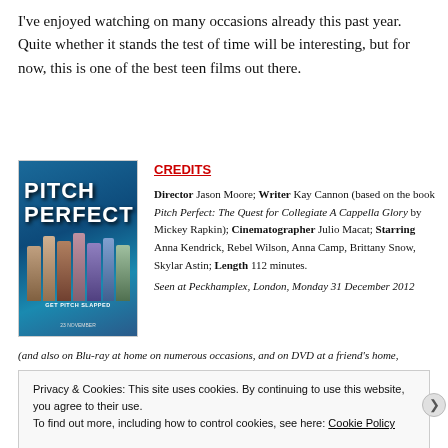I've enjoyed watching on many occasions already this past year. Quite whether it stands the test of time will be interesting, but for now, this is one of the best teen films out there.
[Figure (photo): Movie poster for Pitch Perfect showing cast members with blue background and bold white title text]
CREDITS
Director Jason Moore; Writer Kay Cannon (based on the book Pitch Perfect: The Quest for Collegiate A Cappella Glory by Mickey Rapkin); Cinematographer Julio Macat; Starring Anna Kendrick, Rebel Wilson, Anna Camp, Brittany Snow, Skylar Astin; Length 112 minutes.
Seen at Peckhamplex, London, Monday 31 December 2012
(and also on Blu-ray at home on numerous occasions, and on DVD at a friend's home,
Privacy & Cookies: This site uses cookies. By continuing to use this website, you agree to their use.
To find out more, including how to control cookies, see here: Cookie Policy
Close and accept